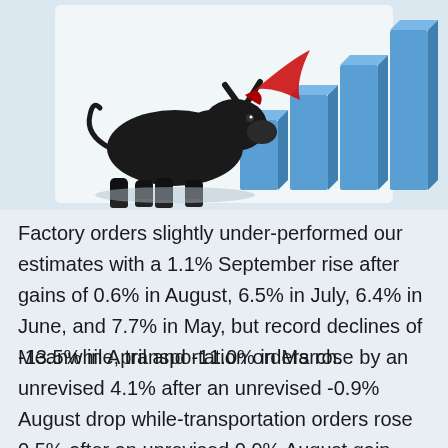[Figure (illustration): A black bull figurine pushing against rising blue bar chart columns with a red arrow, on a white/light blue background — representing bullish market activity.]
Factory orders slightly under-performed our estimates with a 1.1% September rise after gains of 0.6% in August, 6.5% in July, 6.4% in June, and 7.7% in May, but record declines of -13.5% in April and -11.0% in March.
Meanwhile, transportation orders rose by an unrevised 4.1% after an unrevised -0.9% August drop while-transportation orders rose 0.5% after an unrevised 0.9% August gain. The modest September undershoot reflected a restrained 0.2% rise for nondurable...